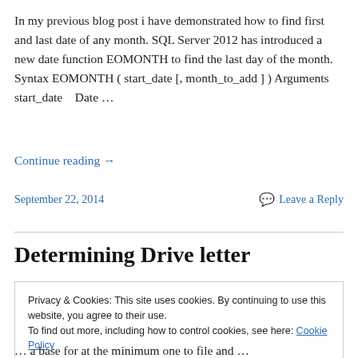In my previous blog post i have demonstrated how to find first and last date of any month. SQL Server 2012 has introduced a new date function EOMONTH to find the last day of the month. Syntax EOMONTH ( start_date [, month_to_add ] ) Arguments start_date    Date …
Continue reading →
September 22, 2014
Leave a Reply
Determining Drive letter
Privacy & Cookies: This site uses cookies. By continuing to use this website, you agree to their use.
To find out more, including how to control cookies, see here: Cookie Policy
Close and accept
… a base for at the minimum one to file and …